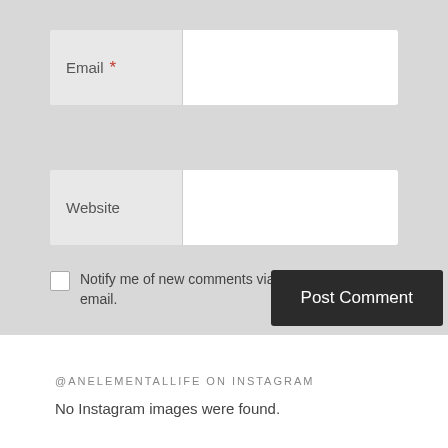[Figure (screenshot): Web form screenshot showing Email field with red asterisk required marker, a Website field below it, two checkboxes for notification options, and a dark Post Comment button]
Email *
Website
Notify me of new comments via email.
Notify me of new posts via email.
Post Comment
@ANELEMENTALLIFE ON INSTAGRAM
No Instagram images were found.